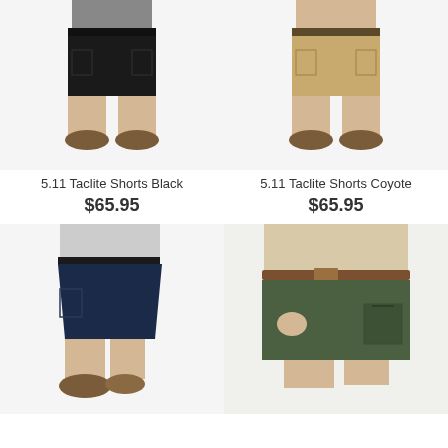[Figure (photo): Man wearing 5.11 Taclite Shorts in Black color, front view, showing black tactical shorts with belt and hiking shoes]
[Figure (photo): Man wearing 5.11 Taclite Shorts in Coyote color, front view, showing tan/khaki tactical shorts with belt and hiking shoes]
5.11 Taclite Shorts Black
$65.95
5.11 Taclite Shorts Coyote
$65.95
[Figure (photo): Man wearing 5.11 Taclite Shorts in Navy/Dark Blue color, side/angled view, showing dark blue tactical shorts with belt and hiking shoes]
[Figure (photo): Close-up of person wearing 5.11 Taclite Shorts in OD Green/Olive color, showing olive green tactical shorts with brown belt, hand in pocket]